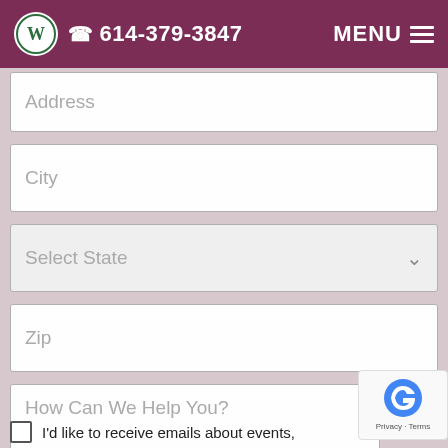614-379-3847  MENU
Address
City
Select State
Zip
How Can We Help You?
I'd like to receive emails about events,